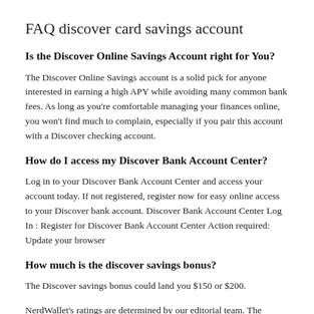FAQ discover card savings account
Is the Discover Online Savings Account right for You?
The Discover Online Savings account is a solid pick for anyone interested in earning a high APY while avoiding many common bank fees. As long as you’re comfortable managing your finances online, you won’t find much to complain, especially if you pair this account with a Discover checking account.
How do I access my Discover Bank Account Center?
Log in to your Discover Bank Account Center and access your account today. If not registered, register now for easy online access to your Discover bank account. Discover Bank Account Center Log In : Register for Discover Bank Account Center Action required: Update your browser
How much is the discover savings bonus?
The Discover savings bonus could land you $150 or $200.
NerdWallet’s ratings are determined by our editorial team. The scoring